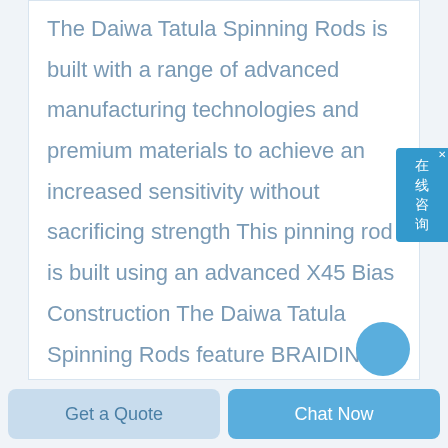The Daiwa Tatula Spinning Rods is built with a range of advanced manufacturing technologies and premium materials to achieve an increased sensitivity without sacrificing strength This pinning rod is built using an advanced X45 Bias Construction The Daiwa Tatula Spinning Rods feature BRAIDING X carbon fiber braiding technology which drastically reduces blank twists
Get a Quote
Chat Now